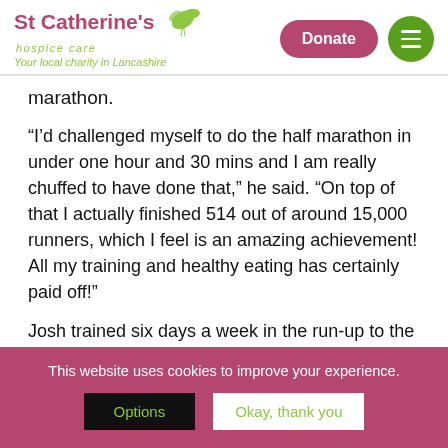St Catherine's hospice care — Your local charity in Lancashire. Donate button. Menu button.
marathon.
“I’d challenged myself to do the half marathon in under one hour and 30 mins and I am really chuffed to have done that,” he said. “On top of that I actually finished 514 out of around 15,000 runners, which I feel is an amazing achievement! All my training and healthy eating has certainly paid off!”
Josh trained six days a week in the run-up to the challenge. A keen hockey player, he found his hockey
This website uses cookies to improve your experience.
Options
Okay, thank you